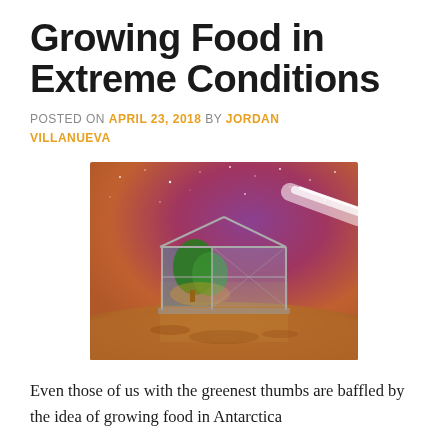Growing Food in Extreme Conditions
POSTED ON APRIL 23, 2018 BY JORDAN VILLANUEVA
[Figure (photo): A glass greenhouse structure sitting on the surface of Mars (reddish-brown terrain) with a dramatic purple/red galaxy sky and a bright comet or light beam in the background. The greenhouse interior shows green trees and warm golden lighting.]
Even those of us with the greenest thumbs are baffled by the idea of growing food in Antarctica